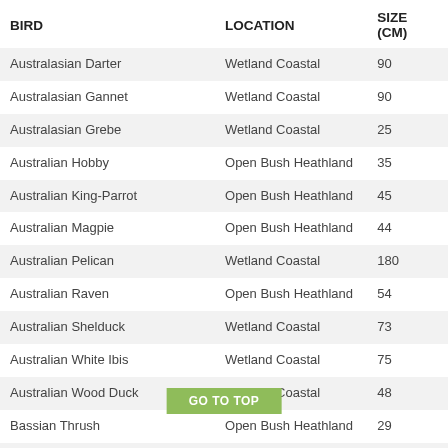| BIRD | LOCATION | SIZE (CM) |
| --- | --- | --- |
| Australasian Darter | Wetland Coastal | 90 |
| Australasian Gannet | Wetland Coastal | 90 |
| Australasian Grebe | Wetland Coastal | 25 |
| Australian Hobby | Open Bush Heathland | 35 |
| Australian King-Parrot | Open Bush Heathland | 45 |
| Australian Magpie | Open Bush Heathland | 44 |
| Australian Pelican | Wetland Coastal | 180 |
| Australian Raven | Open Bush Heathland | 54 |
| Australian Shelduck | Wetland Coastal | 73 |
| Australian White Ibis | Wetland Coastal | 75 |
| Australian Wood Duck | Wetland Coastal | 48 |
| Bassian Thrush | Open Bush Heathland | 29 |
| Beautiful Firetail | Open Bush Heathland | 13 |
| Black fronted Dotterel | Wetland Coastal | 18 |
| Black Swan | Wetland Coastal | 140 |
| Black-browed Albatross | Wetland Coastal | 90 |